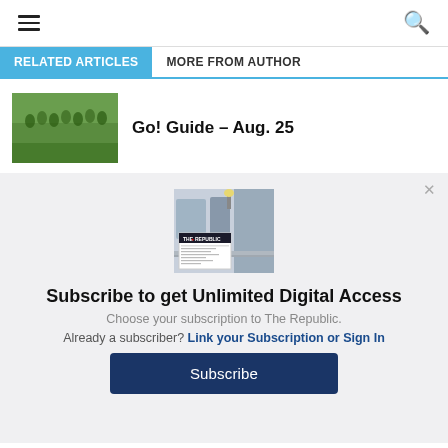Navigation header with hamburger menu and search icon
RELATED ARTICLES | MORE FROM AUTHOR
[Figure (photo): Thumbnail image of group of people outdoors with greenery]
Go! Guide – Aug. 25
[Figure (photo): The Republic newspaper subscription promotional image showing a house porch with a newspaper]
Subscribe to get Unlimited Digital Access
Choose your subscription to The Republic.
Already a subscriber? Link your Subscription or Sign In
Subscribe